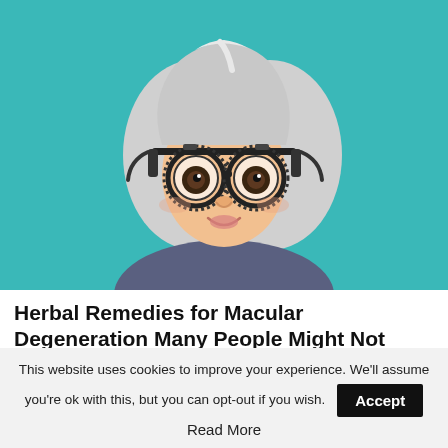[Figure (illustration): Cartoon illustration of an elderly woman with white/grey bob haircut wearing a large ophthalmic trial lens frame/glasses, smiling, wearing a dark blue/grey top, against a teal background.]
Herbal Remedies for Macular Degeneration Many People Might Not Know
Macular Degeneration Remedies | Sponsored
This website uses cookies to improve your experience. We'll assume you're ok with this, but you can opt-out if you wish. Accept Read More